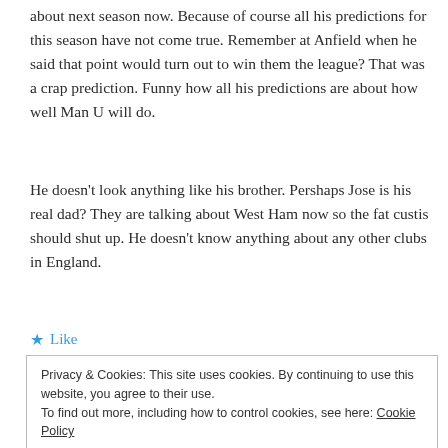about next season now. Because of course all his predictions for this season have not come true. Remember at Anfield when he said that point would turn out to win them the league? That was a crap prediction. Funny how all his predictions are about how well Man U will do.
He doesn't look anything like his brother. Pershaps Jose is his real dad? They are talking about West Ham now so the fat custis should shut up. He doesn't know anything about any other clubs in England.
★ Like
Privacy & Cookies: This site uses cookies. By continuing to use this website, you agree to their use.
To find out more, including how to control cookies, see here: Cookie Policy
Close and accept